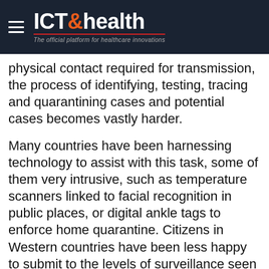ICT&health — The official platform for healthcare innovations
physical contact required for transmission, the process of identifying, testing, tracing and quarantining cases and potential cases becomes vastly harder.
Many countries have been harnessing technology to assist with this task, some of them very intrusive, such as temperature scanners linked to facial recognition in public places, or digital ankle tags to enforce home quarantine. Citizens in Western countries have been less happy to submit to the levels of surveillance seen in other parts of the world, although similar technologies are being slowly introduced. One of the most divisive issues has been location tracking, with some governments co-opting their mobile network providers to share people's GPS coordinates, others preferring